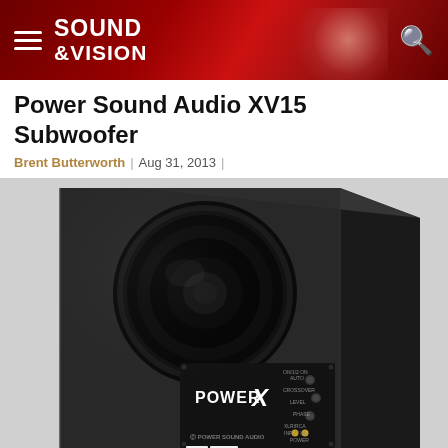SOUND &VISION
Power Sound Audio XV15 Subwoofer
Brent Butterworth | Aug 31, 2013 |
[Figure (photo): Photo of a Power Sound Audio XV15 subwoofer showing the front panel with a large circular bass port/woofer and the rear control panel with 'POWER X' branding, knobs, and Power Sound Audio logo.]